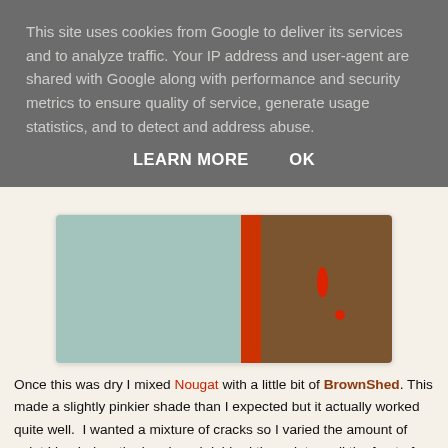This site uses cookies from Google to deliver its services and to analyze traffic. Your IP address and user-agent are shared with Google along with performance and security metrics to ensure quality of service, generate usage statistics, and to detect and address abuse.
LEARN MORE    OK
[Figure (photo): Partially visible photo of a picture frame with teal/mint colored surface on the left, a red vertical bar, and a brown/dark right side with red paint drops]
Once this was dry I mixed Nougat with a little bit of BrownShed. This made a slightly pinkier shade than I expected but it actually worked quite well.  I wanted a mixture of cracks so I varied the amount of paint I loaded on the brush and dabbed the paint on all the front of the frame.  Once this had dried I added the paint to the sides as well.
[Figure (photo): Partially visible photo at bottom of page showing a painted picture frame with mixed colors]